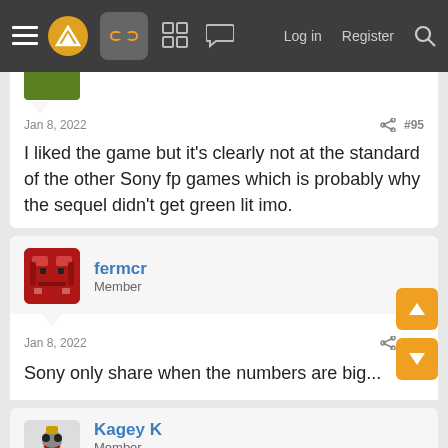Navigation bar with menu, logo, controller icon, grid, chat, Log in, Register, Search
Jan 8, 2022 #95
I liked the game but it's clearly not at the standard of the other Sony fp games which is probably why the sequel didn't get green lit imo.
fermcr Member
Jan 8, 2022 #96
Sony only share when the numbers are big...
Kagey K Member